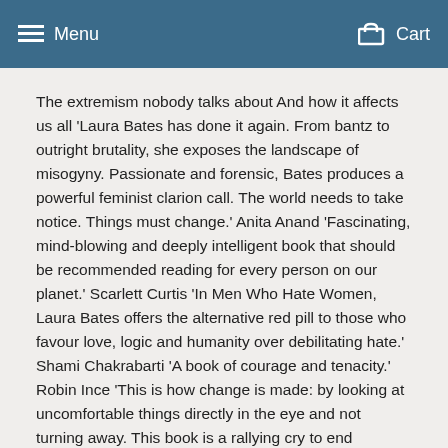Menu   Cart
The extremism nobody talks about And how it affects us all 'Laura Bates has done it again. From bantz to outright brutality, she exposes the landscape of misogyny. Passionate and forensic, Bates produces a powerful feminist clarion call. The world needs to take notice. Things must change.' Anita Anand 'Fascinating, mind-blowing and deeply intelligent book that should be recommended reading for every person on our planet.' Scarlett Curtis 'In Men Who Hate Women, Laura Bates offers the alternative red pill to those who favour love, logic and humanity over debilitating hate.' Shami Chakrabarti 'A book of courage and tenacity.' Robin Ince 'This is how change is made: by looking at uncomfortable things directly in the eye and not turning away. This book is a rallying cry to end suffering, for both women AND men.' Emma Gannon Imagine a world in which a vast network of incels and other misogynists are able to operate, virtually undetected. These extremists commit deliberate terrorist acts against women. Vulnerable teenage boys are groomed and radicalised. You don't have to imagine that world